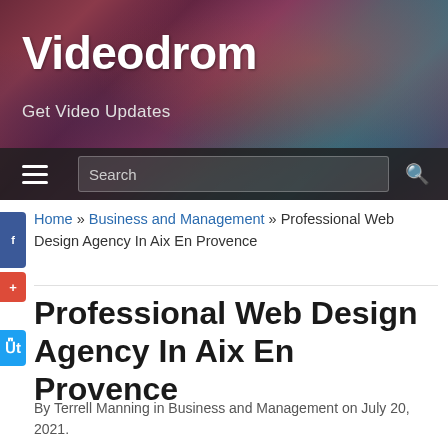Videodrom
Get Video Updates
Home » Business and Management » Professional Web Design Agency In Aix En Provence
Professional Web Design Agency In Aix En Provence
By Terrell Manning in Business and Management on July 20, 2021.